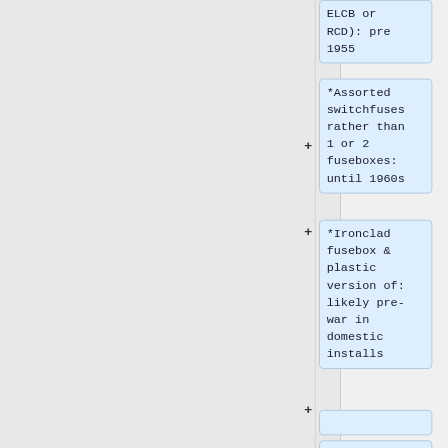ELCB or RCD): pre 1955
*Assorted switchfuses rather than 1 or 2 fuseboxes: until 1960s
*Ironclad fusebox & plastic version of: likely pre-war in domestic installs
===Sockets==